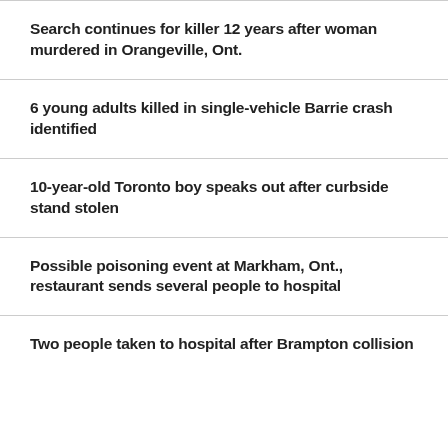Search continues for killer 12 years after woman murdered in Orangeville, Ont.
6 young adults killed in single-vehicle Barrie crash identified
10-year-old Toronto boy speaks out after curbside stand stolen
Possible poisoning event at Markham, Ont., restaurant sends several people to hospital
Two people taken to hospital after Brampton collision